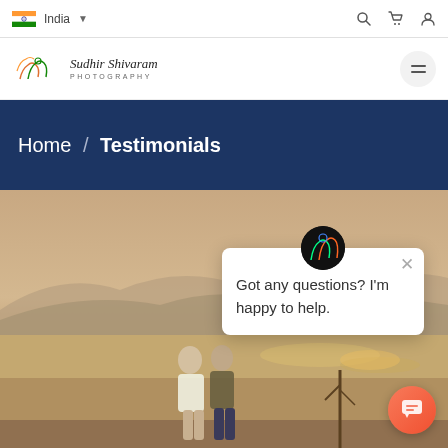India — navigation bar with search, cart, and account icons
[Figure (logo): Sudhir Shivaram Photography logo with stylized SSP initials]
Home / Testimonials
[Figure (photo): Two people standing outdoors at a sandy riverbed with hazy mountains in the background at dusk]
Got any questions? I'm happy to help.